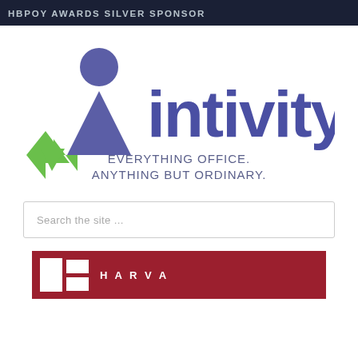HBPOY AWARDS SILVER SPONSOR
[Figure (logo): Intivity logo with stylized figure icon in purple and green, tagline: EVERYTHING OFFICE. ANYTHING BUT ORDINARY.]
Search the site ...
[Figure (logo): Partial red banner with white geometric block shapes and white text, partially cropped at bottom of page]